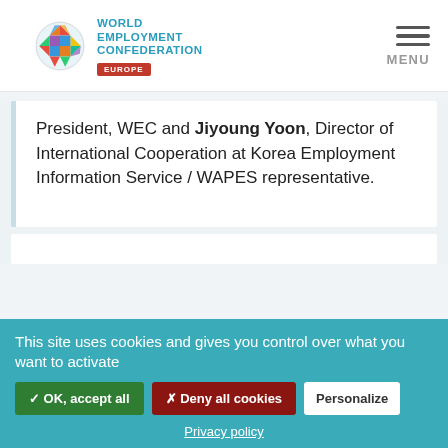[Figure (logo): World Employment Confederation Europe logo with colorful globe icon and teal/blue organization name text with red Europe badge]
President, WEC and Jiyoung Yoon, Director of International Cooperation at Korea Employment Information Service / WAPES representative.
This site uses cookies and gives you control over what you want to activate
✓ OK, accept all
✗ Deny all cookies
Personalize
Privacy policy